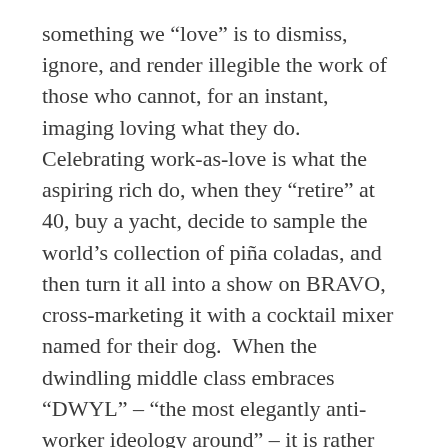something we “love” is to dismiss, ignore, and render illegible the work of those who cannot, for an instant, imaging loving what they do. Celebrating work-as-love is what the aspiring rich do, when they “retire” at 40, buy a yacht, decide to sample the world’s collection of piña coladas, and then turn it all into a show on BRAVO, cross-marketing it with a cocktail mixer named for their dog. When the dwindling middle class embraces “DWYL” – “the most elegantly anti-worker ideology around” – it is rather boldly aligning itself with the interests of the ruling class, with its frosty, umbrella-accented drinks.

As Tokumitsu summarizes it, the ideology of